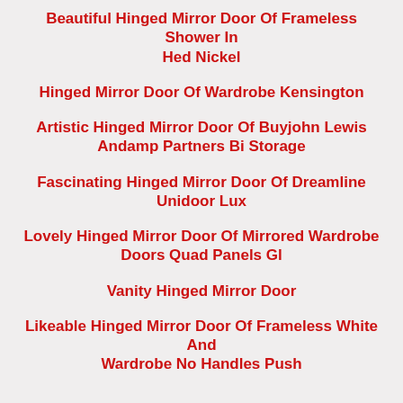Beautiful Hinged Mirror Door Of Frameless Shower In Hed Nickel
Hinged Mirror Door Of Wardrobe Kensington
Artistic Hinged Mirror Door Of Buyjohn Lewis Andamp Partners Bi Storage
Fascinating Hinged Mirror Door Of Dreamline Unidoor Lux
Lovely Hinged Mirror Door Of Mirrored Wardrobe Doors Quad Panels Gl
Vanity Hinged Mirror Door
Likeable Hinged Mirror Door Of Frameless White And Wardrobe No Handles Push